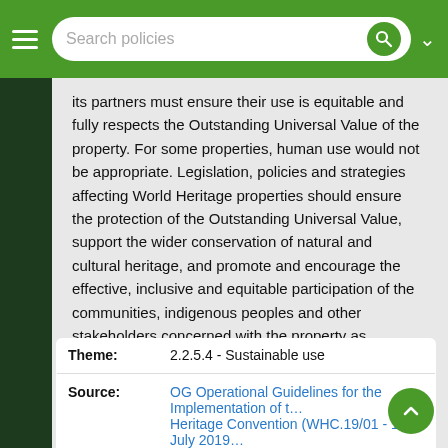Search policies
its partners must ensure their use is equitable and fully respects the Outstanding Universal Value of the property. For some properties, human use would not be appropriate. Legislation, policies and strategies affecting World Heritage properties should ensure the protection of the Outstanding Universal Value, support the wider conservation of natural and cultural heritage, and promote and encourage the effective, inclusive and equitable participation of the communities, indigenous peoples and other stakeholders concerned with the property as necessary conditions to its sustainable protection, conservation, management and presentation.”
| Field | Value |
| --- | --- |
| Theme: | 2.2.5.4 - Sustainable use |
| Source: | OG Operational Guidelines for the Implementation of the World Heritage Convention (WHC.19/01 - 10 July 2019) |
| Threats: | Changes in traditional ways of life and knowledge systems |